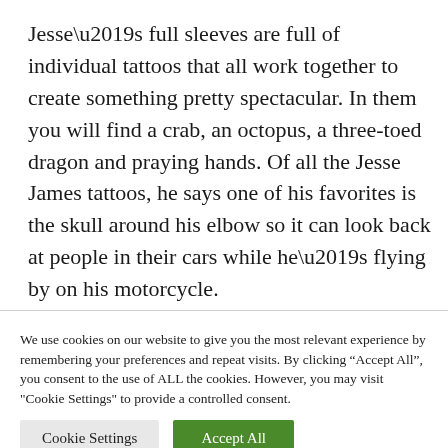Jesse’s full sleeves are full of individual tattoos that all work together to create something pretty spectacular. In them you will find a crab, an octopus, a three-toed dragon and praying hands. Of all the Jesse James tattoos, he says one of his favorites is the skull around his elbow so it can look back at people in their cars while he’s flying by on his motorcycle.
We use cookies on our website to give you the most relevant experience by remembering your preferences and repeat visits. By clicking “Accept All”, you consent to the use of ALL the cookies. However, you may visit "Cookie Settings" to provide a controlled consent.